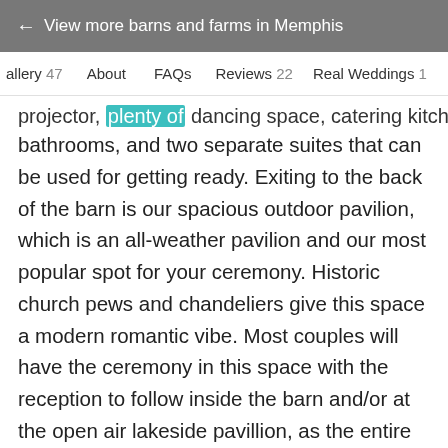← View more barns and farms in Memphis
Gallery 47   About   FAQs   Reviews 22   Real Weddings 1
projector, plenty of dancing space, catering kitchen, bathrooms, and two separate suites that can be used for getting ready. Exiting to the back of the barn is our spacious outdoor pavilion, which is an all-weather pavilion and our most popular spot for your ceremony. Historic church pews and chandeliers give this space a modern romantic vibe. Most couples will have the ceremony in this space with the reception to follow inside the barn and/or at the open air lakeside pavillion, as the entire property is yours for your wedding day (as well as the day before). In addition to the outdoor pavilion, Snider Farms also has a new landscaped patio adjacent to the right side of the barn that a wall of glass doors opens out to for cocktails and dancing under the courtyard lights. A hidden cove in the woods is beautiful for a smaller romantic woodland wedding or pictures. If you